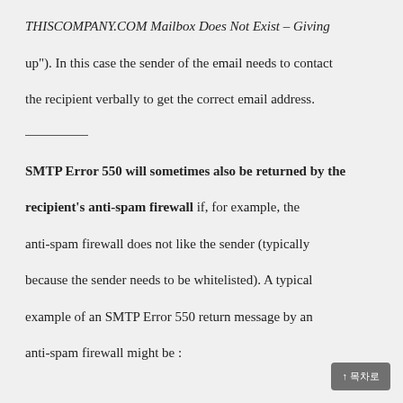THISCOMPANY.COM Mailbox Does Not Exist – Giving
up"). In this case the sender of the email needs to contact the recipient verbally to get the correct email address.
SMTP Error 550 will sometimes also be returned by the recipient's anti-spam firewall if, for example, the anti-spam firewall does not like the sender (typically because the sender needs to be whitelisted). A typical example of an SMTP Error 550 return message by an anti-spam firewall might be :
↑ 목차로